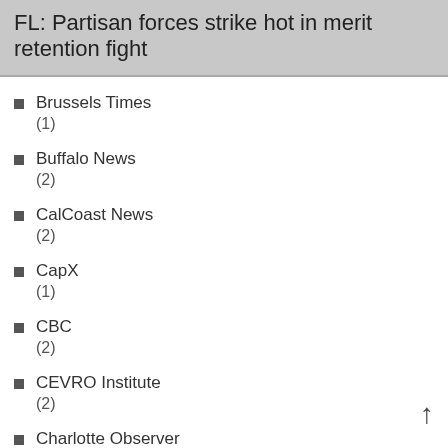FL: Partisan forces strike hot in merit retention fight
Brussels Times
(1)
Buffalo News
(2)
CalCoast News
(2)
CapX
(1)
CBC
(2)
CEVRO Institute
(2)
Charlotte Observer
(7)
Chicago Tribune